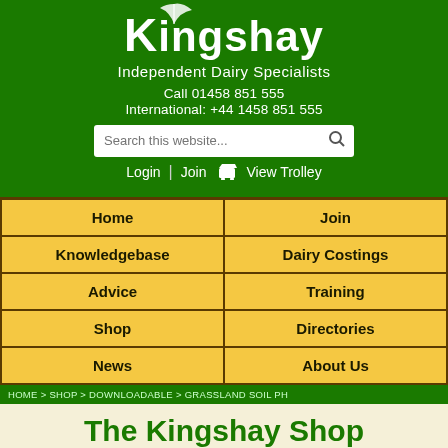[Figure (logo): Kingshay logo with leaf/grass swoosh above the K, white text on green background]
Independent Dairy Specialists
Call 01458 851 555
International: +44 1458 851 555
[Figure (other): Search bar with placeholder text 'Search this website...' and magnifying glass icon]
Login | Join  View Trolley
| Home | Join |
| Knowledgebase | Dairy Costings |
| Advice | Training |
| Shop | Directories |
| News | About Us |
HOME > SHOP > DOWNLOADABLE > GRASSLAND SOIL PH
The Kingshay Shop